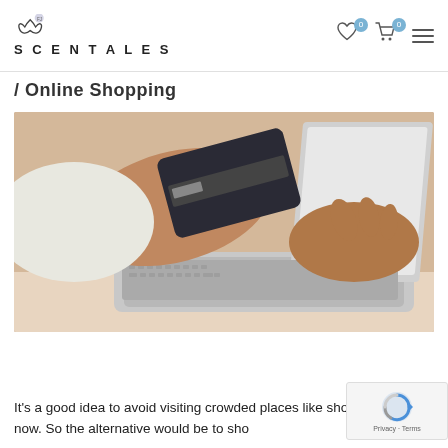SCENTALES
/ Online Shopping
[Figure (photo): Person holding a credit card in one hand while typing on a laptop keyboard with the other hand, online shopping concept]
It's a good idea to avoid visiting crowded places like shopping mall now. So the alternative would be to sho...